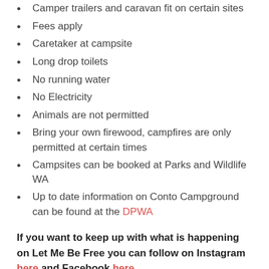Camper trailers and caravan fit on certain sites
Fees apply
Caretaker at campsite
Long drop toilets
No running water
No Electricity
Animals are not permitted
Bring your own firewood, campfires are only permitted at certain times
Campsites can be booked at Parks and Wildlife WA
Up to date information on Conto Campground can be found at the DPWA
If you want to keep up with what is happening on Let Me Be Free you can follow on Instagram here and Facebook here.